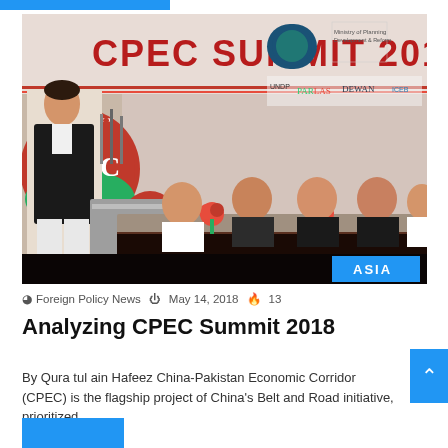[Figure (photo): Photo from CPEC Summit 2018 event. A speaker stands at a podium on the left, with several officials seated at a long table. A large banner reading 'CPEC SUMMIT 2018' is visible in the background, along with sponsor logos. An 'ASIA' tag appears in the lower right corner of the image.]
Foreign Policy News  May 14, 2018  13
Analyzing CPEC Summit 2018
By Qura tul ain Hafeez China-Pakistan Economic Corridor (CPEC) is the flagship project of China's Belt and Road initiative, prioritized…